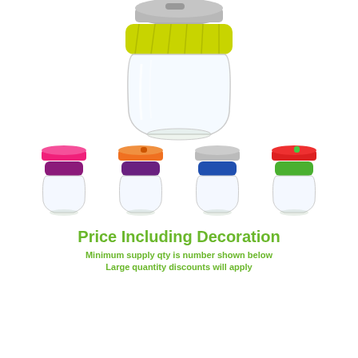[Figure (photo): Large glass reusable coffee cup with yellow-green silicone band and grey lid, viewed from above]
[Figure (photo): Four small glass reusable coffee cups with colourful lids and bands: pink/purple, orange/purple, grey/blue, red/green]
Price Including Decoration
Minimum supply qty is number shown below
Large quantity discounts will apply
| Quantity | Price (ex GST)/unit |
| --- | --- |
| 240 | Call us |
| 480 | Call us |